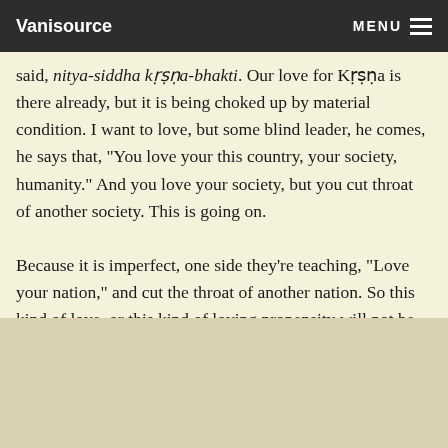Vanisource  MENU
said, nitya-siddha kṛṣṇa-bhakti. Our love for Kṛṣṇa is there already, but it is being choked up by material condition. I want to love, but some blind leader, he comes, he says that, "You love your this country, your society, humanity." And you love your society, but you cut throat of another society. This is going on. Because it is imperfect, one side they're teaching, "Love your nation," and cut the throat of another nation. So this kind of love, or this kind of loving propensity will not be ever satisfied. We shall always remain unsatisfied, because this is artificial. The same example: If you want to love, then you have to pour water on the root of the tree. Then it will be all right. Otherwise, if you